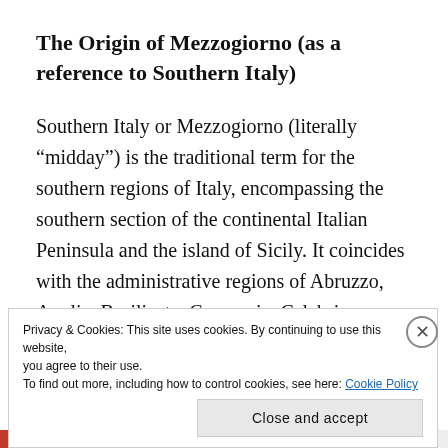The Origin of Mezzogiorno (as a reference to Southern Italy)
Southern Italy or Mezzogiorno (literally “midday”) is the traditional term for the southern regions of Italy, encompassing the southern section of the continental Italian Peninsula and the island of Sicily. It coincides with the administrative regions of Abruzzo, Apulia, Basilicata, Campania, Calabria, Molise, and Sicily. The term Mezzogiorno first came into use in the 18th
Privacy & Cookies: This site uses cookies. By continuing to use this website, you agree to their use.
To find out more, including how to control cookies, see here: Cookie Policy